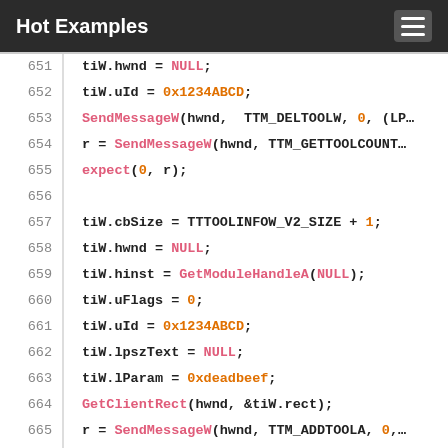Hot Examples
[Figure (screenshot): Code viewer showing C++ source lines 651-669 with syntax highlighting]
651     tiW.hwnd = NULL;
652     tiW.uId = 0x1234ABCD;
653     SendMessageW(hwnd, TTM_DELTOOLW, 0, (LP
654     r = SendMessageW(hwnd, TTM_GETTOOLCOUNT
655     expect(0, r);
656     
657     tiW.cbSize = TTTOOLINFOW_V2_SIZE + 1;
658     tiW.hwnd = NULL;
659     tiW.hinst = GetModuleHandleA(NULL);
660     tiW.uFlags = 0;
661     tiW.uId = 0x1234ABCD;
662     tiW.lpszText = NULL;
663     tiW.lParam = 0xdeadbeef;
664     GetClientRect(hwnd, &tiW.rect);
665     r = SendMessageW(hwnd, TTM_ADDTOOLA, 0,
666     ok(r, "Adding the tool to the tooltip f
667     r = SendMessageW(hwnd, TTM_GETTOOLCOUNT
668     expect(1, r);
669     /* looks like TTM_DELTOOLW doesn't work